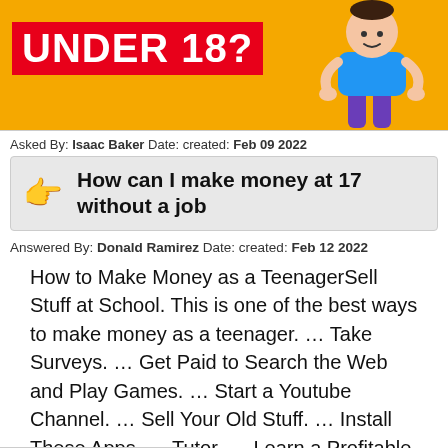[Figure (illustration): Orange banner with red background text reading 'UNDER 18?' and a cartoon figure of a teenager with empty pockets on the right side]
Asked By: Isaac Baker Date: created: Feb 09 2022
How can I make money at 17 without a job
Answered By: Donald Ramirez Date: created: Feb 12 2022
How to Make Money as a TeenagerSell Stuff at School. This is one of the best ways to make money as a teenager. … Take Surveys. … Get Paid to Search the Web and Play Games. … Start a Youtube Channel. … Sell Your Old Stuff. … Install These Apps. … Tutor. … Learn a Profitable Skill.More items…